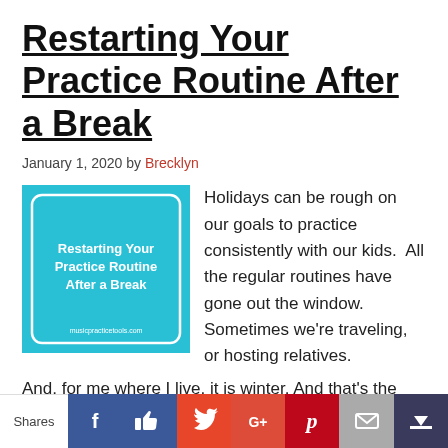Restarting Your Practice Routine After a Break
January 1, 2020 by Brecklyn
[Figure (illustration): Book cover / blog post image with cyan background, white inner border rectangle, and white text reading 'Restarting Your Practice Routine After a Break' with a small URL at the bottom.]
Holidays can be rough on our goals to practice consistently with our kids.  All the regular routines have gone out the window.  Sometimes we're traveling, or hosting relatives.
And, for me where I live, it is winter. And that's the worst.  The dark days and gloomy weather just makes
Shares  [Facebook] [Like] [Twitter] [Google+] [Pinterest] [Email] [More]